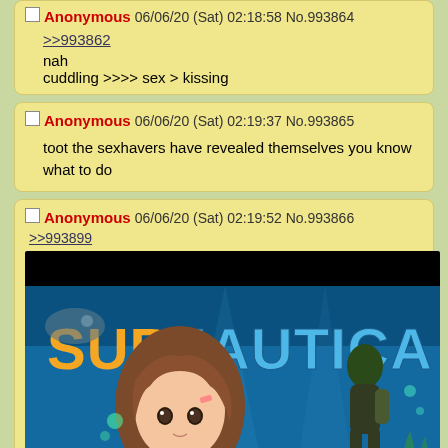Anonymous 06/06/20 (Sat) 02:18:58 No.993864
>>993862
nah
cuddling >>>> sex > kissing
Anonymous 06/06/20 (Sat) 02:19:37 No.993865
toot the sexhavers have revealed themselves you know what to do
Anonymous 06/06/20 (Sat) 02:19:52 No.993866  >>993899
[Figure (screenshot): Subnautica game promotional image/meme showing the Subnautica logo with an anime girl character overlaid on the game's underwater scene with a diver]